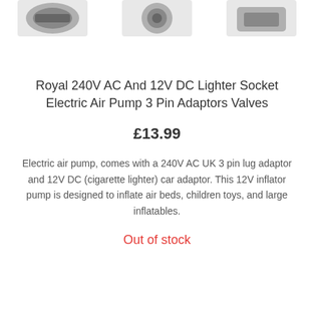[Figure (photo): Partial product images cropped at the top of the page]
Royal 240V AC And 12V DC Lighter Socket Electric Air Pump 3 Pin Adaptors Valves
£13.99
Electric air pump, comes with a 240V AC UK 3 pin lug adaptor and 12V DC (cigarette lighter) car adaptor. This 12V inflator pump is designed to inflate air beds, children toys, and large inflatables.
Out of stock